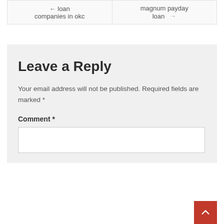| ← loan companies in okc | magnum payday loan → |
Leave a Reply
Your email address will not be published. Required fields are marked *
Comment *